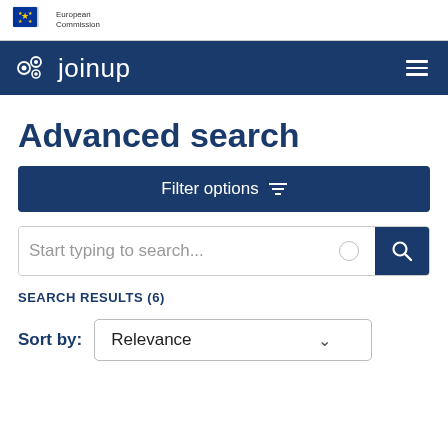[Figure (logo): European Commission logo with EU flag and 'European Commission' text]
joinup navigation bar with menu icon
Advanced search
Filter options
Start typing to search...
SEARCH RESULTS (6)
Sort by: Relevance